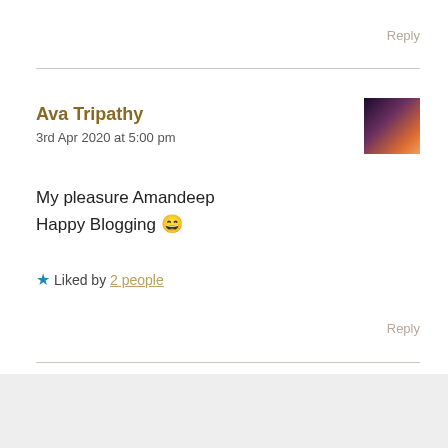Reply
Ava Tripathy
3rd Apr 2020 at 5:00 pm
My pleasure Amandeep
Happy Blogging 😄
★ Liked by 2 people
Reply
Advertisements
[Figure (screenshot): Jetpack advertisement banner with green background showing Jetpack logo and 'Back up your site' button]